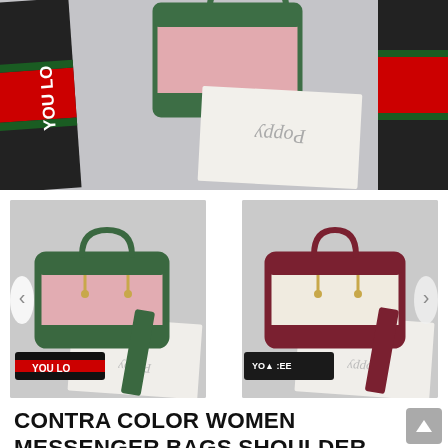[Figure (photo): Top banner photo showing pink and green handbag with 'YOU LO' branded straps on both sides, placed on a marble surface with a decorative card underneath]
[Figure (photo): Left product photo: pink and green contra-color women messenger shoulder bag with 'YOU LO' branded strap on marble surface]
[Figure (photo): Right product photo: cream and dark red contra-color women messenger shoulder bag with black 'YOU' branded strap on marble surface]
CONTRA COLOR WOMEN MESSENGER BAGS SHOULDER BAG FOR WOMEN 2018 SMALL FLAP BAG SAC A MAIN LADIES HAND BAGS